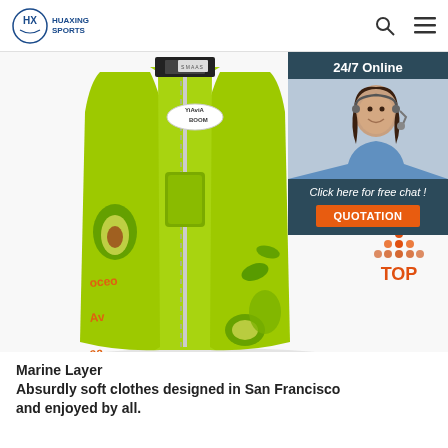HUAXING SPORTS
[Figure (photo): Green children's swim vest/life jacket with avocado pattern and YiAvia BOOM brand label, shown on white background]
[Figure (infographic): 24/7 Online chat widget with customer service agent photo, 'Click here for free chat!' text, and orange QUOTATION button]
[Figure (other): Orange and red TOP button with upward arrow dots]
Marine Layer
Absurdly soft clothes designed in San Francisco and enjoyed by all.